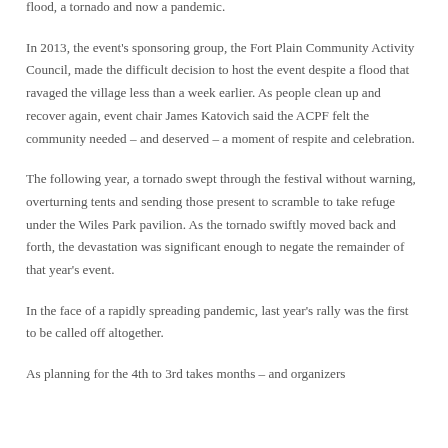flood, a tornado and now a pandemic.
In 2013, the event's sponsoring group, the Fort Plain Community Activity Council, made the difficult decision to host the event despite a flood that ravaged the village less than a week earlier. As people clean up and recover again, event chair James Katovich said the ACPF felt the community needed – and deserved – a moment of respite and celebration.
The following year, a tornado swept through the festival without warning, overturning tents and sending those present to scramble to take refuge under the Wiles Park pavilion. As the tornado swiftly moved back and forth, the devastation was significant enough to negate the remainder of that year's event.
In the face of a rapidly spreading pandemic, last year's rally was the first to be called off altogether.
As planning for the 4th to 3rd takes months – and organizers